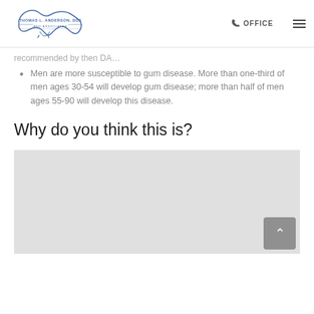Thomas L. Anderson, DDS and Associates — OFFICE
recommended by then DA…
Men are more susceptible to gum disease. More than one-third of men ages 30-54 will develop gum disease; more than half of men ages 55-90 will develop this disease.
Why do you think this is?
[Figure (photo): Gray placeholder image box below the section header]